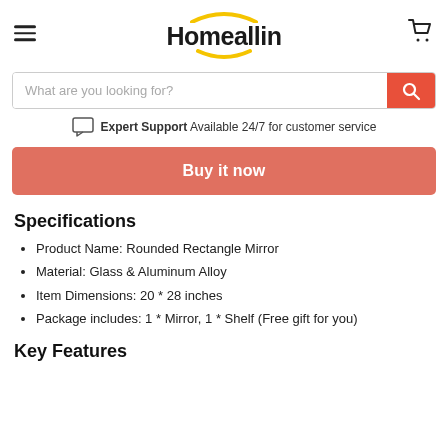Homeallin
What are you looking for?
Expert Support  Available 24/7 for customer service
Buy it now
Specifications
Product Name: Rounded Rectangle Mirror
Material: Glass & Aluminum Alloy
Item Dimensions: 20 * 28 inches
Package includes: 1 * Mirror, 1 * Shelf (Free gift for you)
Key Features